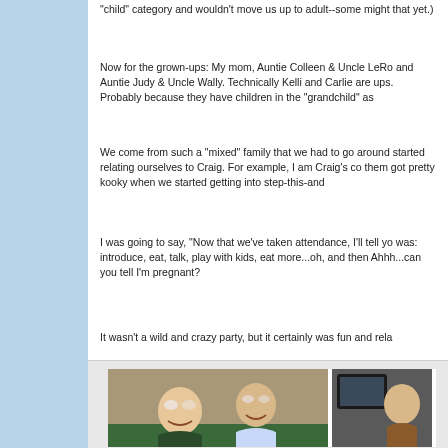"child" category and wouldn't move us up to adult--some might that yet.)
Now for the grown-ups: My mom, Auntie Colleen & Uncle LeRo and Auntie Judy & Uncle Wally. Technically Kelli and Carlie are ups. Probably because they have children in the "grandchild" as
We come from such a "mixed" family that we had to go around started relating ourselves to Craig. For example, I am Craig's co them got pretty kooky when we started getting into step-this-an
I was going to say, "Now that we've taken attendance, I'll tell yo was: introduce, eat, talk, play with kids, eat more...oh, and then Ahhh...can you tell I'm pregnant?
It wasn't a wild and crazy party, but it certainly was fun and rela
[Figure (photo): Two young men smiling and posing together on a couch, and a partial second photo showing another person]